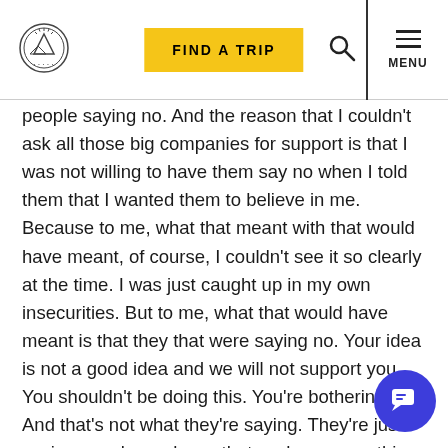FIND A TRIP | [logo] [search] MENU
people saying no. And the reason that I couldn't ask all those big companies for support is that I was not willing to have them say no when I told them that I wanted them to believe in me. Because to me, what that meant with that would have meant, of course, I couldn't see it so clearly at the time. I was just caught up in my own insecurities. But to me, what that would have meant is that they that were saying no. Your idea is not a good idea and we will not support you. You shouldn't be doing this. You're bothering us. And that's not what they're saying. They're just saying, you know, know that we have something else that we're already doing. We can't include you in our program this year. And that's really all it is. And it was going up to every single gas station being told no by at least 50 percent, if not more of them. That I learned how to become tenacious and to